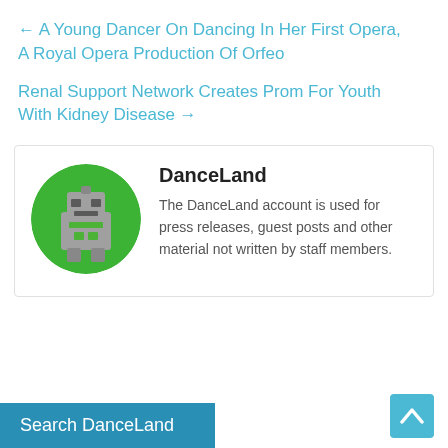← A Young Dancer On Dancing In Her First Opera, A Royal Opera Production Of Orfeo
Renal Support Network Creates Prom For Youth With Kidney Disease →
[Figure (illustration): Circular green avatar with grey robot/character icon for DanceLand account]
DanceLand
The DanceLand account is used for press releases, guest posts and other material not written by staff members.
Search DanceLand